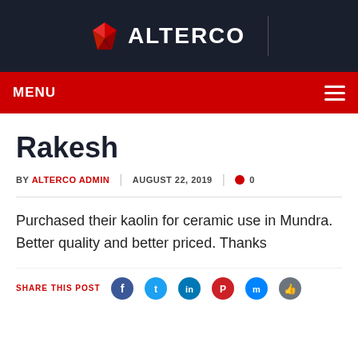[Figure (logo): Alterco logo with red gem icon and white ALTERCO text on dark navy background header]
MENU
Rakesh
BY ALTERCO ADMIN | AUGUST 22, 2019 | 0
Purchased their kaolin for ceramic use in Mundra. Better quality and better priced. Thanks
SHARE THIS POST